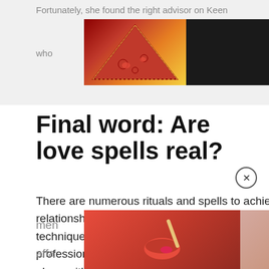Fortunately, she found the right advisor on Keen
[Figure (screenshot): Seamless food delivery advertisement banner with pizza image, seamless logo in red, and ORDER NOW button on dark background]
who
Final word: Are love spells real?
There are numerous rituals and spells to achieve your relationship goals. They use similar energies to voodoo but include numerous techniques to ret... the bonds. The main thing is to find a professional who will discover all ins and outs of the ritual along with its consequences. Choose one of the
[Figure (screenshot): Black overlay video/ad popup covering part of the article text]
men
affa
[Figure (screenshot): Ulta Beauty advertisement bar at bottom with makeup/beauty images and SHOP NOW button]